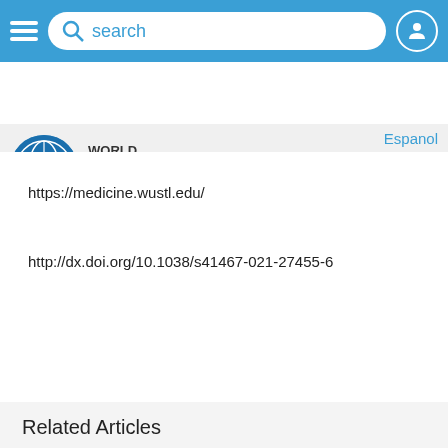[Figure (screenshot): Top navigation bar with hamburger menu, search box, and user icon on blue background]
[Figure (logo): World Health Net logo with globe icon and WHN text, Espanol link and A4M badge on right]
https://medicine.wustl.edu/
http://dx.doi.org/10.1038/s41467-021-27455-6
Related Articles